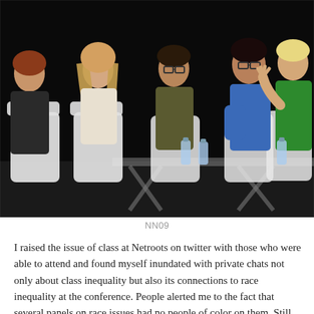[Figure (photo): A panel discussion with five people seated in white chairs on a dark stage. From left: a person in dark clothing, a woman with long hair in light clothing, a man in a dark jacket with glasses, a man in a blue shirt with glasses, and a woman in a green dress with short blonde hair gesturing with her hand. Water bottles are visible on a glass table in front of them.]
NN09
I raised the issue of class at Netroots on twitter with those who were able to attend and found myself inundated with private chats not only about class inequality but also its connections to race inequality at the conference. People alerted me to the fact that several panels on race issues had no people of color on them. Still others, took a solidarity stance with issues of racism and immigration while failing to acknowledge the way the identities they represented overlapped, including queer, female, blogger, etc. Other panels interrogate the Left. Media and the idea that the capture of being liberal...